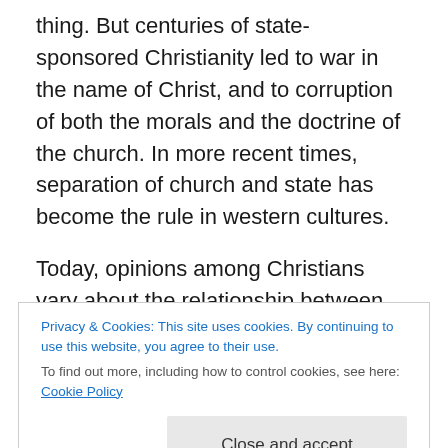thing. But centuries of state-sponsored Christianity led to war in the name of Christ, and to corruption of both the morals and the doctrine of the church. In more recent times, separation of church and state has become the rule in western cultures.
Today, opinions among Christians vary about the relationship between church and state. Some believe the church should actively promote its agenda in the political realm. Others believe the church should focus on meeting the spiritual needs of individuals, and leave politics alone.
Privacy & Cookies: This site uses cookies. By continuing to use this website, you agree to their use. To find out more, including how to control cookies, see here: Cookie Policy
the other side opposes the war. One side emphasizes